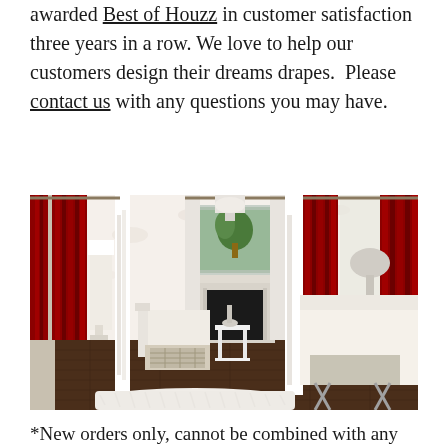awarded Best of Houzz in customer satisfaction three years in a row. We love to help our customers design their dreams drapes.  Please contact us with any questions you may have.
[Figure (photo): Interior room photo showing elegant living space with red floor-length curtains/drapes, white upholstered furniture, a fireplace with mirror above it, white shag rug, dark hardwood floors, and floral wallpaper.]
*New orders only, cannot be combined with any other offer.  $50 off may be applied to orders of $999